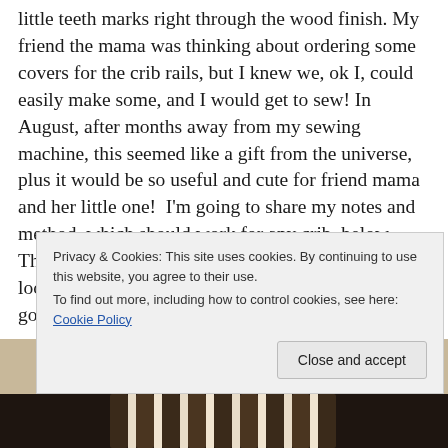little teeth marks right through the wood finish. My friend the mama was thinking about ordering some covers for the crib rails, but I knew we, ok I, could easily make some, and I would get to sew! In August, after months away from my sewing machine, this seemed like a gift from the universe, plus it would be so useful and cute for friend mama and her little one!  I'm going to share my notes and method, which should work for any crib, below.  This is a fairly quick project, so if you are still looking for a gift for a young family, it could be a good one.
Privacy & Cookies: This site uses cookies. By continuing to use this website, you agree to their use. To find out more, including how to control cookies, see here: Cookie Policy
[Figure (photo): Bottom portion of a photo showing crib bars/rails, dark wooden vertical slats visible at the bottom of the page.]